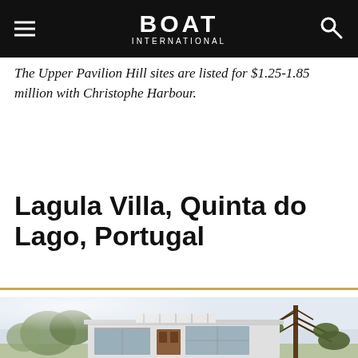BOAT International
The Upper Pavilion Hill sites are listed for $1.25-1.85 million with Christophe Harbour.
Lagula Villa, Quinta do Lago, Portugal
[Figure (photo): Exterior photograph of Lagula Villa in Quinta do Lago, Portugal — a modern low-rise white villa with large glass windows and a wood-panelled door, set among tall pine trees under a bright sky.]